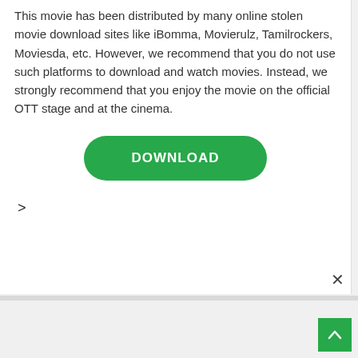This movie has been distributed by many online stolen movie download sites like iBomma, Movierulz, Tamilrockers, Moviesda, etc. However, we recommend that you do not use such platforms to download and watch movies. Instead, we strongly recommend that you enjoy the movie on the official OTT stage and at the cinema.
[Figure (other): Green rounded DOWNLOAD button]
>